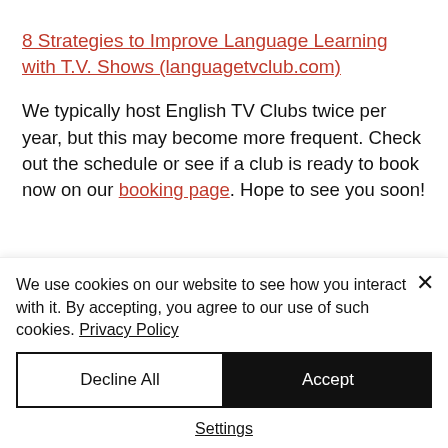8 Strategies to Improve Language Learning with T.V. Shows (languagetvclub.com)
We typically host English TV Clubs twice per year, but this may become more frequent. Check out the schedule or see if a club is ready to book now on our booking page. Hope to see you soon!
We use cookies on our website to see how you interact with it. By accepting, you agree to our use of such cookies. Privacy Policy
Decline All
Accept
Settings